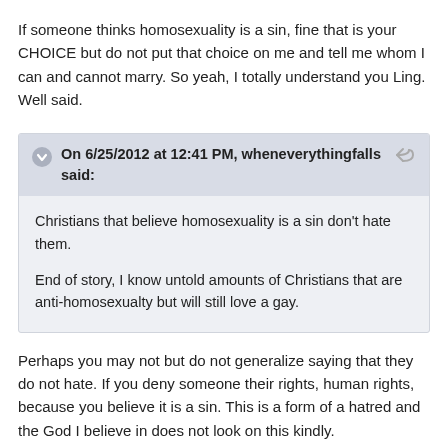If someone thinks homosexuality is a sin, fine that is your CHOICE but do not put that choice on me and tell me whom I can and cannot marry. So yeah, I totally understand you Ling. Well said.
On 6/25/2012 at 12:41 PM, wheneverythingfalls said:
Christians that believe homosexuality is a sin don't hate them.
End of story, I know untold amounts of Christians that are anti-homosexualty but will still love a gay.
Perhaps you may not but do not generalize saying that they do not hate. If you deny someone their rights, human rights, because you believe it is a sin. This is a form of a hatred and the God I believe in does not look on this kindly.
Edited June 30, 2012 by wwunderbar